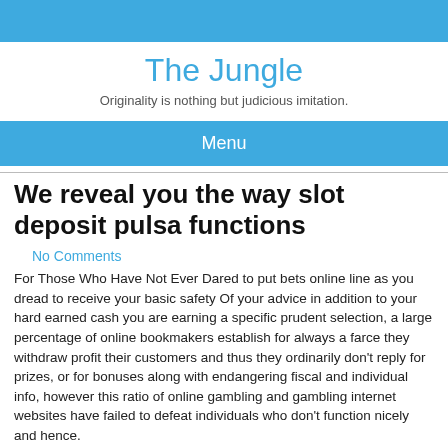The Jungle
Originality is nothing but judicious imitation.
Menu
We reveal you the way slot deposit pulsa functions
No Comments
For Those Who Have Not Ever Dared to put bets online line as you dread to receive your basic safety Of your advice in addition to your hard earned cash you are earning a specific prudent selection, a large percentage of online bookmakers establish for always a farce they withdraw profit their customers and thus they ordinarily don't reply for prizes, or for bonuses along with endangering fiscal and individual info, however this ratio of online gambling and gambling internet websites have failed to defeat individuals who don't function nicely and hence.